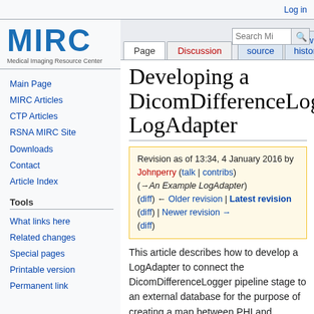Log in
[Figure (logo): MIRC logo - Medical Imaging Resource Center]
Main Page
MIRC Articles
CTP Articles
RSNA MIRC Site
Downloads
Contact
Article Index
Tools
What links here
Related changes
Special pages
Printable version
Permanent link
Developing a DicomDifferenceLogger LogAdapter
Revision as of 13:34, 4 January 2016 by Johnperry (talk | contribs) (→An Example LogAdapter) (diff) ← Older revision | Latest revision (diff) | Newer revision → (diff)
This article describes how to develop a LogAdapter to connect the DicomDifferenceLogger pipeline stage to an external database for the purpose of creating a map between PHI and